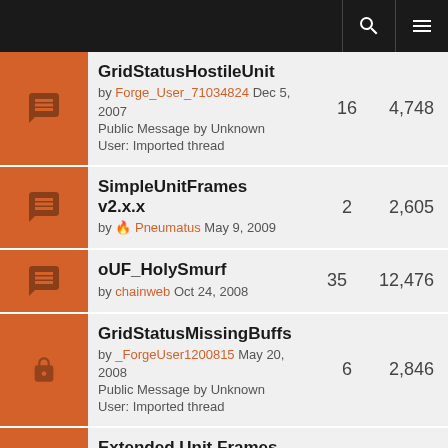GridStatusHostileUnit by Forge_User_71034824 Dec 5, 2007 Public Message by Unknown User: Imported thread | 16 | 4,748
SimpleUnitFrames v2.x.x by Pneumatus May 9, 2009 | 2 | 2,605
oUF_HolySmurf by chainweb Oct 24, 2008 | 35 | 12,476
GridStatusMissingBuffs by _ForgeUser1200815 May 20, 2008 Public Message by Unknown User: Imported thread | 6 | 2,846
Extended Unit Frames by _ForgeUser75604 May 12, 2008 Public Message by Unknown | 3 | 3,780